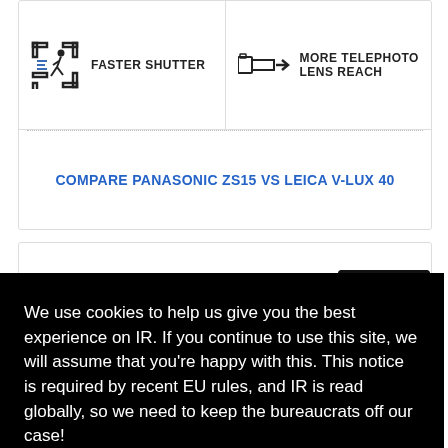[Figure (illustration): Faster shutter icon: person running inside bracket frame]
FASTER SHUTTER
[Figure (illustration): Telephoto lens reach icon: camera with zoom indicator and arrow]
MORE TELEPHOTO LENS REACH
COMPARE PANASONIC ZS15 vs LEICA V-LUX 40
We use cookies to help us give you the best experience on IR. If you continue to use this site, we will assume that you're happy with this. This notice is required by recent EU rules, and IR is read globally, so we need to keep the bureaucrats off our case!
Learn more
Got it!
[Figure (photo): Camera lens close-up, dark background]
[Figure (illustration): In-camera stabilization icon]
IN-CAMERA
[Figure (illustration): Mosaic/pixel grid icon in blue]